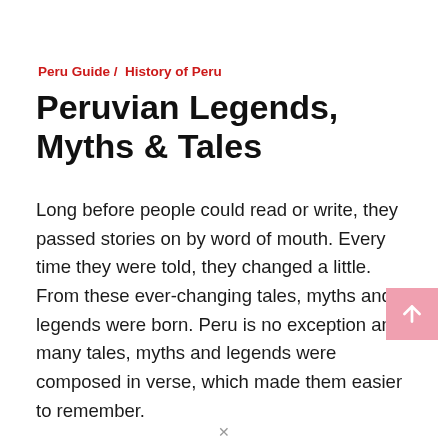Peru Guide / History of Peru
Peruvian Legends, Myths & Tales
Long before people could read or write, they passed stories on by word of mouth. Every time they were told, they changed a little. From these ever-changing tales, myths and legends were born. Peru is no exception and many tales, myths and legends were composed in verse, which made them easier to remember.